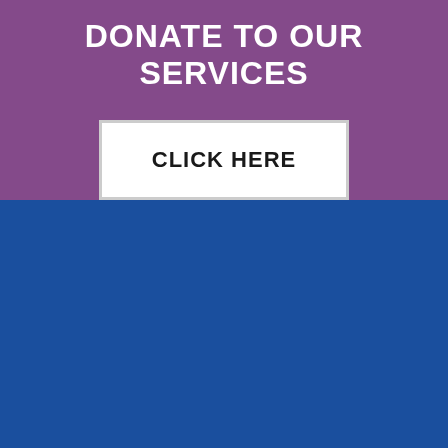DONATE TO OUR SERVICES
[Figure (other): White button with text CLICK HERE on purple background]
© 2022 CatholicCare – Created by
| Privacy &
Disclaimers
Follow us on Facebook